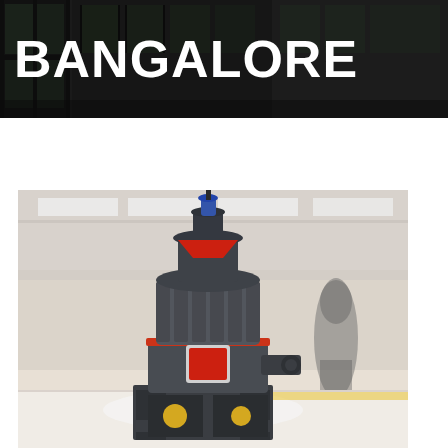[Figure (photo): Dark industrial building exterior with large windows, serving as the header background image with the text BANGALORE overlaid in bold white capital letters]
BANGALORE
[Figure (photo): Industrial grinding mill machine (vertical roller mill / Raymond mill) in dark grey color with red accent ring and red square label/panel, standing on a metal frame inside a factory warehouse. A second similar machine is visible in the background to the right.]